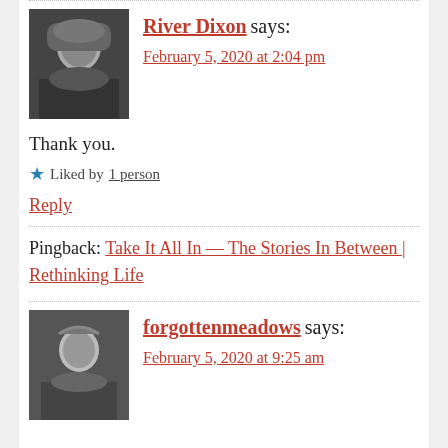River Dixon says:
February 5, 2020 at 2:04 pm
Thank you.
Liked by 1 person
Reply
Pingback: Take It All In — The Stories In Between | Rethinking Life
forgottenmeadows says:
February 5, 2020 at 9:25 am